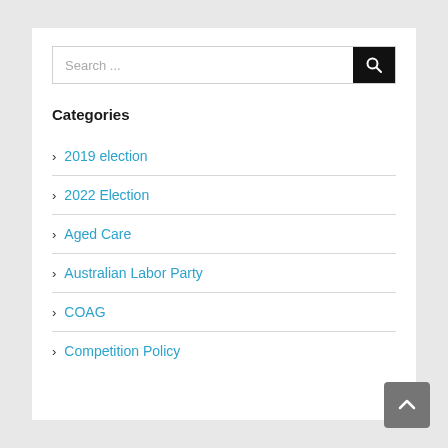[Figure (screenshot): Search bar with text input placeholder 'Search ...' and a black search button with magnifying glass icon]
Categories
2019 election
2022 Election
Aged Care
Australian Labor Party
COAG
Competition Policy